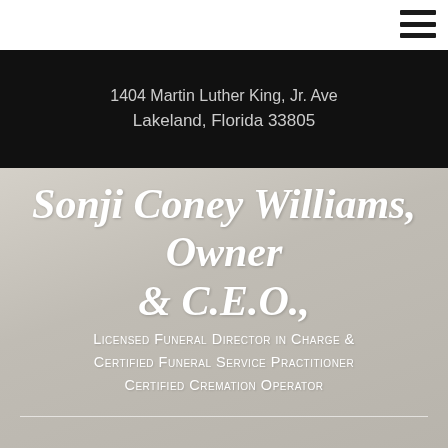1404 Martin Luther King, Jr. Ave
Lakeland, Florida 33805
Sonji Coney Williams, Owner & C.E.O.,
Licensed Funeral Director in Charge & Certified Funeral Service Practitioner Certified Cremation Operator